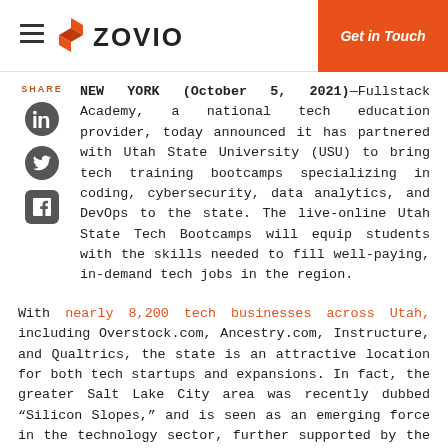ZOVIO — Get in Touch
NEW YORK (October 5, 2021)—Fullstack Academy, a national tech education provider, today announced it has partnered with Utah State University (USU) to bring tech training bootcamps specializing in coding, cybersecurity, data analytics, and DevOps to the state. The live-online Utah State Tech Bootcamps will equip students with the skills needed to fill well-paying, in-demand tech jobs in the region.
With nearly 8,200 tech businesses across Utah, including Overstock.com, Ancestry.com, Instructure, and Qualtrics, the state is an attractive location for both tech startups and expansions. In fact, the greater Salt Lake City area was recently dubbed “Silicon Slopes,” and is seen as an emerging force in the technology sector, further supported by the expansion of tech giants like Adobe, Facebook, eBay, and